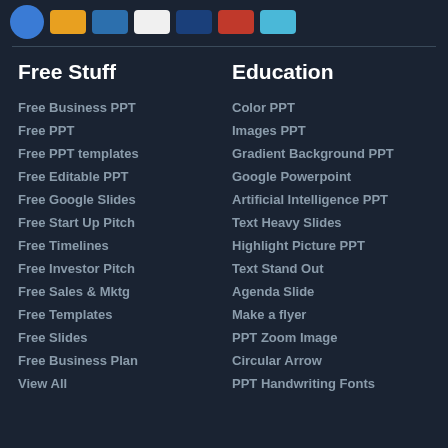[Figure (other): Row of payment method icons: blue circle logo, orange rectangle (Maestro), blue rectangle (Amex), white rectangle (Visa), dark blue rectangle (PayPal), orange/red rectangle (Mastercard), light blue rectangle (Diners Club)]
Free Stuff
Free Business PPT
Free PPT
Free PPT templates
Free Editable PPT
Free Google Slides
Free Start Up Pitch
Free Timelines
Free Investor Pitch
Free Sales & Mktg
Free Templates
Free Slides
Free Business Plan
View All
Education
Color PPT
Images PPT
Gradient Background PPT
Google Powerpoint
Artificial Intelligence PPT
Text Heavy Slides
Highlight Picture PPT
Text Stand Out
Agenda Slide
Make a flyer
PPT Zoom Image
Circular Arrow
PPT Handwriting Fonts